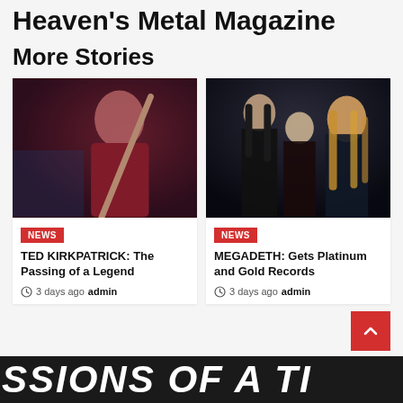Heaven's Metal Magazine
More Stories
[Figure (photo): Close-up of a drummer holding drumsticks, wearing a red shirt, lit with purple/blue stage lighting]
NEWS
TED KIRKPATRICK: The Passing of a Legend
3 days ago  admin
[Figure (photo): Three heavy metal musicians standing against dark background, wearing black leather jackets]
NEWS
MEGADETH: Gets Platinum and Gold Records
3 days ago  admin
SSIONS OF A TI